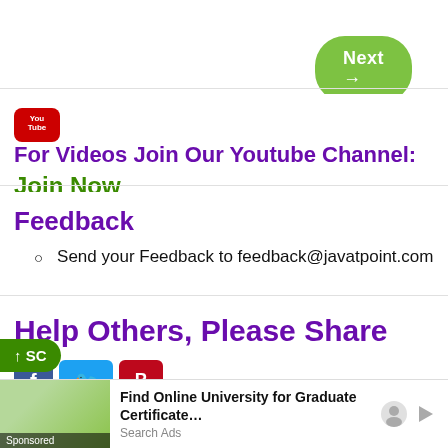Next →
For Videos Join Our Youtube Channel: Join Now
Feedback
Send your Feedback to feedback@javatpoint.com
Help Others, Please Share
[Figure (infographic): Social share buttons: Facebook, Twitter, Pinterest]
[Figure (infographic): Advertisement bar: Find Online University for Graduate Certificate... Search Ads]